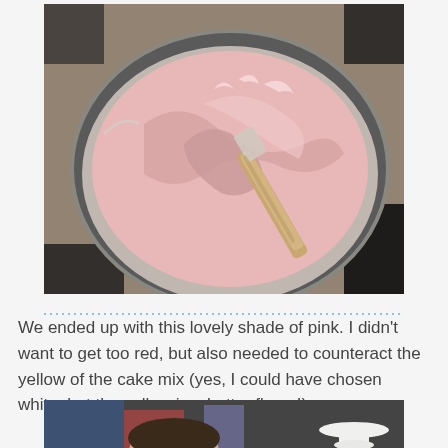[Figure (photo): A metal mixing bowl containing pink-colored batter or frosting being mixed with a wooden spatula, viewed from above on a countertop.]
We ended up with this lovely shade of pink. I didn't want to get too red, but also needed to counteract the yellow of the cake mix (yes, I could have chosen white, but the yellow is a better flavor!).
[Figure (photo): Partial view of a child and baking equipment on a table, bottom of page.]